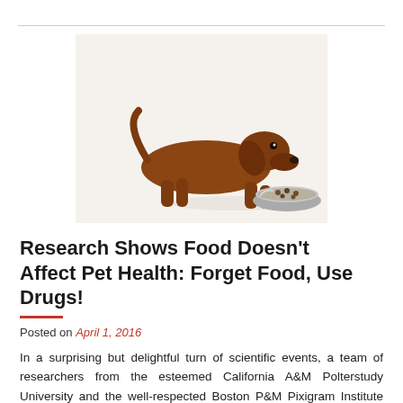[Figure (photo): A small brown dachshund puppy eating dry kibble from a stainless steel bowl, on a white background.]
Research Shows Food Doesn't Affect Pet Health: Forget Food, Use Drugs!
Posted on April 1, 2016
In a surprising but delightful turn of scientific events, a team of researchers from the esteemed California A&M Polterstudy University and the well-respected Boston P&M Pixigram Institute have conclusively determined that food has absolutely no affect on pet health. Their research has shown that we should forget nutrition in